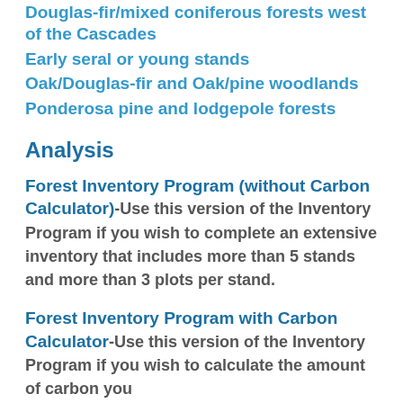Douglas-fir/mixed coniferous forests west of the Cascades
Early seral or young stands
Oak/Douglas-fir and Oak/pine woodlands
Ponderosa pine and lodgepole forests
Analysis
Forest Inventory Program (without Carbon Calculator)
-Use this version of the Inventory Program if you wish to complete an extensive inventory that includes more than 5 stands and more than 3 plots per stand.
Forest Inventory Program with Carbon Calculator
-Use this version of the Inventory Program if you wish to calculate the amount of carbon you